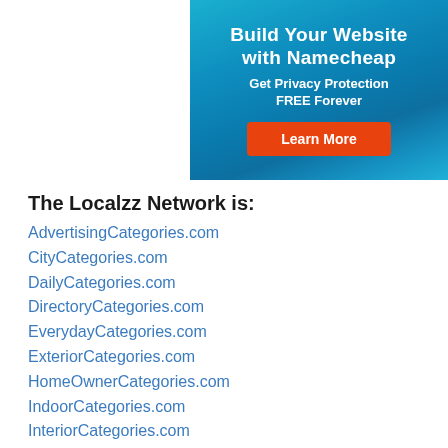[Figure (infographic): Namecheap advertisement banner with teal/blue gradient background. Text: 'Build Your Website with Namecheap', 'Get Privacy Protection FREE Forever', and an orange 'Learn More' button.]
The Localzz Network is:
AdvertisingCategories.com
CityCategories.com
DailyCategories.com
DirectoryCategories.com
EverydayCategories.com
ExteriorCategories.com
HomeOwnerCategories.com
IndoorCategories.com
InteriorCategories.com
ListingCategories.com